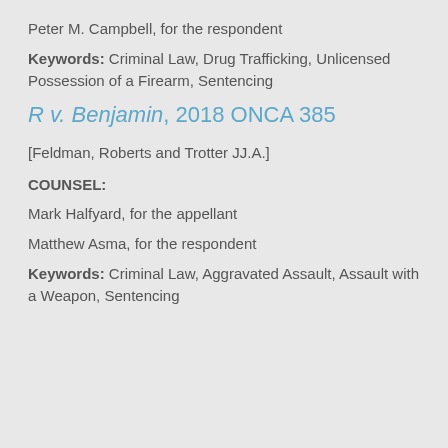Peter M. Campbell, for the respondent
Keywords: Criminal Law, Drug Trafficking, Unlicensed Possession of a Firearm, Sentencing
R v. Benjamin, 2018 ONCA 385
[Feldman, Roberts and Trotter JJ.A.]
COUNSEL:
Mark Halfyard, for the appellant
Matthew Asma, for the respondent
Keywords: Criminal Law, Aggravated Assault, Assault with a Weapon, Sentencing